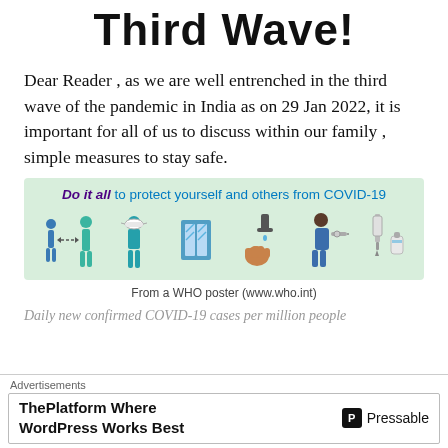Third Wave!
Dear Reader , as we are well entrenched in the third wave of the pandemic in India as on 29 Jan 2022, it is important for all of us to discuss within our family , simple measures to stay safe.
[Figure (infographic): WHO infographic showing COVID-19 protective measures: social distancing, mask wearing, ventilation, hand washing, vaccination. Text reads: 'Do it all to protect yourself and others from COVID-19']
From a WHO poster (www.who.int)
Daily new confirmed COVID-19 cases per million people
Advertisements
ThePlatform Where WordPress Works Best